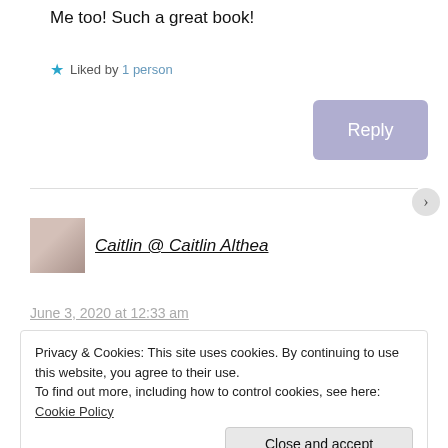Me too! Such a great book!
★ Liked by 1 person
Reply
Caitlin @ Caitlin Althea
June 3, 2020 at 12:33 am
Privacy & Cookies: This site uses cookies. By continuing to use this website, you agree to their use.
To find out more, including how to control cookies, see here: Cookie Policy
Close and accept